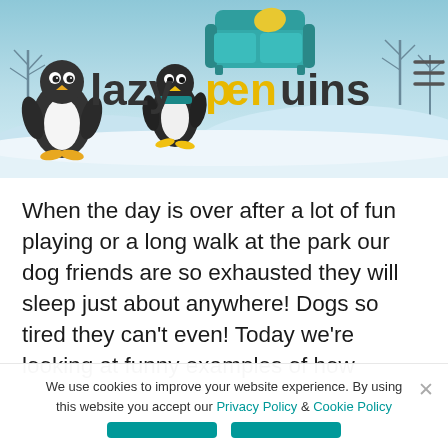[Figure (logo): Lazy Penguins website header banner with penguin cartoon characters, a teal sofa, snowy winter scene background, and the site logo reading 'lazypenguins' with a hamburger menu icon top right.]
When the day is over after a lot of fun playing or a long walk at the park our dog friends are so exhausted they will sleep just about anywhere! Dogs so tired they can't even! Today we're looking at funny examples of how
We use cookies to improve your website experience. By using this website you accept our Privacy Policy & Cookie Policy